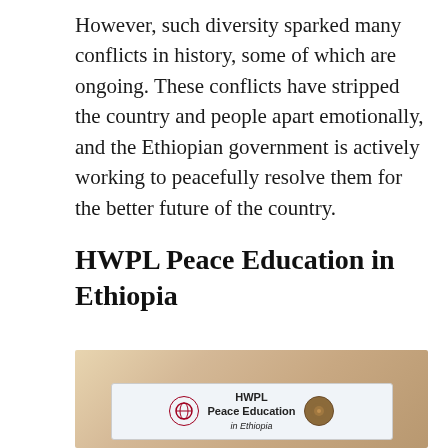However, such diversity sparked many conflicts in history, some of which are ongoing. These conflicts have stripped the country and people apart emotionally, and the Ethiopian government is actively working to peacefully resolve them for the better future of the country.
HWPL Peace Education in Ethiopia
[Figure (photo): A photograph showing a banner or sign reading 'HWPL Peace Education in Ethiopia' with logos on each side, displayed against a warm beige/tan background.]